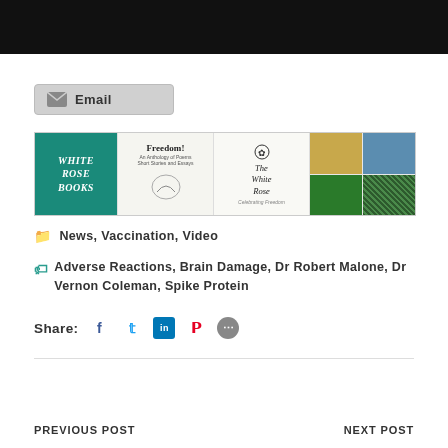[Figure (photo): Black bar at top of page (image cropped)]
[Figure (screenshot): Email button with envelope icon]
[Figure (photo): White Rose Books banner showing book covers: White Rose Books logo, Freedom! anthology cover, The White Rose book cover, and small book covers on right]
News, Vaccination, Video
Adverse Reactions, Brain Damage, Dr Robert Malone, Dr Vernon Coleman, Spike Protein
Share:
PREVIOUS POST    NEXT POST